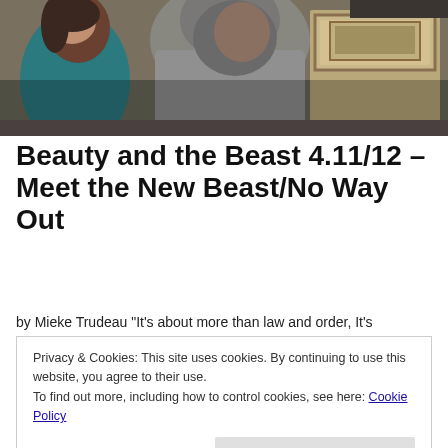[Figure (photo): Two people in a dimly lit room — a woman in a teal top and a man in a grey shirt with his back turned, near an old cabinet with a framed picture on the wall.]
Beauty and the Beast 4.11/12 – Meet the New Beast/No Way Out
by Mieke Trudeau "It's about more than law and order, It's
Privacy & Cookies: This site uses cookies. By continuing to use this website, you agree to their use.
To find out more, including how to control cookies, see here: Cookie Policy
Close and accept